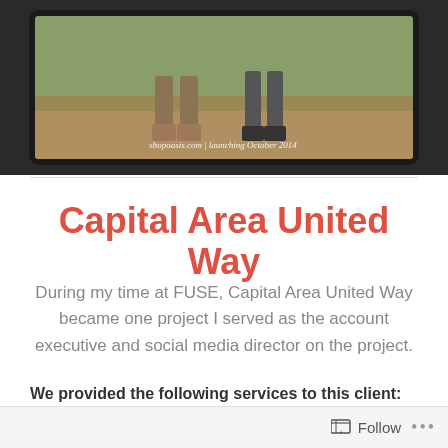[Figure (screenshot): Tablet/device screenshot showing two people's feet/legs outdoors with text overlay 'shopoasis.com | launching October 2014', with media playback controls visible at top]
Capital Area United Way
During my time at FUSE, Capital Area United Way became one project I served as the account executive and social media director on the project.
We provided the following services to this client:
Follow ...